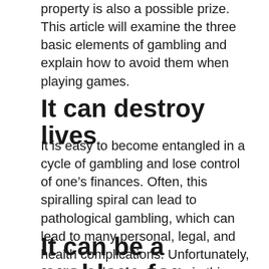property is also a possible prize. This article will examine the three basic elements of gambling and explain how to avoid them when playing games.
It can destroy lives
It is easy to become entangled in a cycle of gambling and lose control of one's finances. Often, this spiralling spiral can lead to pathological gambling, which can lead to many personal, legal, and health complications. Unfortunately, most people who engage in this destructive behavior won't seek treatment for their gambling habit until they hit rock bottom. This is why seeking treatment for gambling addiction is so vital. Below are a few signs that you may be suffering from gambling addiction.
It can be a problem for